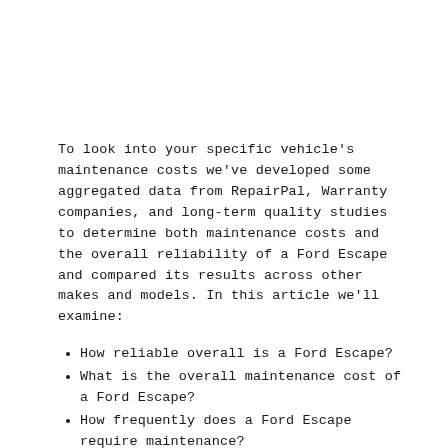To look into your specific vehicle's maintenance costs we've developed some aggregated data from RepairPal, Warranty companies, and long-term quality studies to determine both maintenance costs and the overall reliability of a Ford Escape and compared its results across other makes and models. In this article we'll examine:
How reliable overall is a Ford Escape?
What is the overall maintenance cost of a Ford Escape?
How frequently does a Ford Escape require maintenance?
How likely is the Ford Escape to have a severe repair issue?
What are different factors that impact